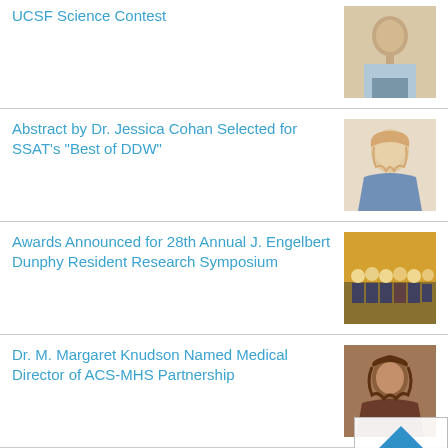UCSF Science Contest
[Figure (photo): Portrait photo of a man in a dress shirt and tie]
Abstract by Dr. Jessica Cohan Selected for SSAT's "Best of DDW"
[Figure (photo): Portrait photo of a woman with blonde hair]
Awards Announced for 28th Annual J. Engelbert Dunphy Resident Research Symposium
[Figure (photo): Group photo of people holding certificates]
Dr. M. Margaret Knudson Named Medical Director of ACS-MHS Partnership
[Figure (photo): Portrait photo of a woman with dark hair]
UCSF General Surgery Residency Program Ranked Among Top 2 Percent in Country
[Figure (photo): Portrait photo of a woman with glasses and curly hair]